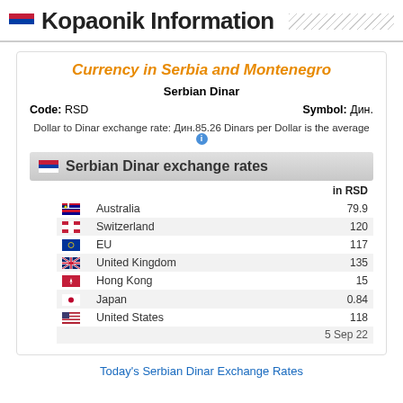Kopaonik Information
Currency in Serbia and Montenegro
Serbian Dinar
Code: RSD    Symbol: Дин.
Dollar to Dinar exchange rate: Дин.85.26 Dinars per Dollar is the average
Serbian Dinar exchange rates
|  | Country | in RSD |
| --- | --- | --- |
| 🇦🇺 | Australia | 79.9 |
| 🇨🇭 | Switzerland | 120 |
| 🇪🇺 | EU | 117 |
| 🇬🇧 | United Kingdom | 135 |
| 🇭🇰 | Hong Kong | 15 |
| 🇯🇵 | Japan | 0.84 |
| 🇺🇸 | United States | 118 |
|  |  | 5 Sep 22 |
Today's Serbian Dinar Exchange Rates